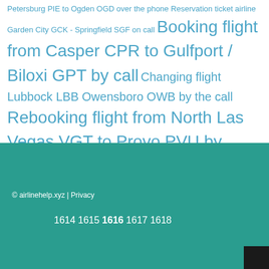Petersburg PIE to Ogden OGD over the phone Reservation ticket airline Garden City GCK - Springfield SGF on call Booking flight from Casper CPR to Gulfport / Biloxi GPT by call Changing flight Lubbock LBB Owensboro OWB by the call Rebooking flight from North Las Vegas VGT to Provo PVU by phone Book airline ticket from Farmingdale FRG to Rochester RST by call
© airlinehelp.xyz | Privacy
1614 1615 1616 1617 1618